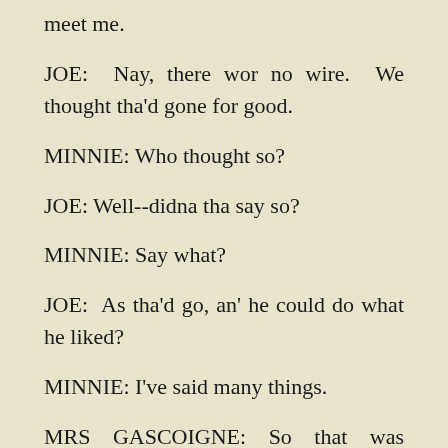meet me.
JOE: Nay, there wor no wire. We thought tha'd gone for good.
MINNIE: Who thought so?
JOE: Well--didna tha say so?
MINNIE: Say what?
JOE: As tha'd go, an' he could do what he liked?
MINNIE: I've said many things.
MRS GASCOIGNE: So that was how it stood! Tha'rt a fool, our Luther. If ter ta'es a woman at 'er